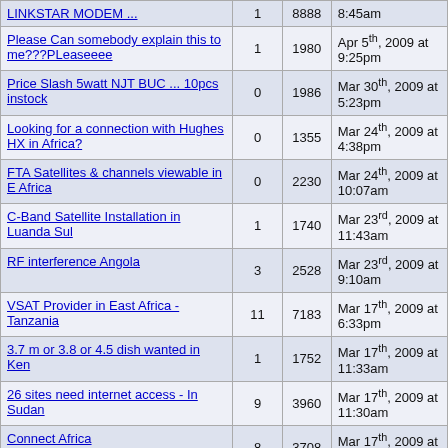| Topic | Replies | Views | Last Post |
| --- | --- | --- | --- |
| LINKSTAR MODEM ... | 1 | 8888 | 8:45am |
| Please Can somebody explain this to me???PLeaseeee | 1 | 1980 | Apr 5th, 2009 at 9:25pm |
| Price Slash 5watt NJT BUC ... 10pcs instock | 0 | 1986 | Mar 30th, 2009 at 5:23pm |
| Looking for a connection with Hughes HX in Africa? | 0 | 1355 | Mar 24th, 2009 at 4:38pm |
| FTA Satellites & channels viewable in E Africa | 0 | 2230 | Mar 24th, 2009 at 10:07am |
| C-Band Satellite Installation in Luanda Sul | 1 | 1740 | Mar 23rd, 2009 at 11:43am |
| RF interference Angola | 3 | 2528 | Mar 23rd, 2009 at 9:10am |
| VSAT Provider in East Africa - Tanzania | 11 | 7183 | Mar 17th, 2009 at 6:33pm |
| 3.7 m or 3.8 or 4.5 dish wanted in Ken | 1 | 1752 | Mar 17th, 2009 at 11:33am |
| 26 sites need internet access - In Sudan | 9 | 3960 | Mar 17th, 2009 at 11:30am |
| Connect Africa | 8 | 3708 | Mar 17th, 2009 at 11:26am |
| Req: VSAT installation at senegal | 2 | 2166 | Mar 17th, 2009 at 11:17am |